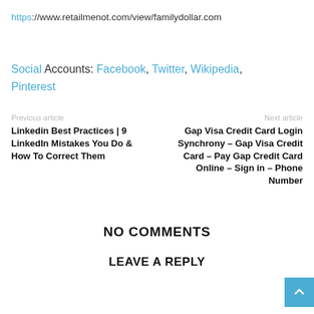https://www.retailmenot.com/view/familydollar.com
Social Accounts: Facebook, Twitter, Wikipedia, Pinterest
Previous article
Next article
Linkedin Best Practices | 9 LinkedIn Mistakes You Do & How To Correct Them
Gap Visa Credit Card Login Synchrony – Gap Visa Credit Card – Pay Gap Credit Card Online – Sign in – Phone Number
NO COMMENTS
LEAVE A REPLY